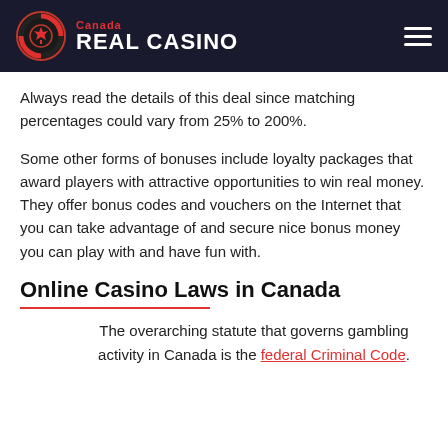Canada REAL CASINO
Always read the details of this deal since matching percentages could vary from 25% to 200%.
Some other forms of bonuses include loyalty packages that award players with attractive opportunities to win real money. They offer bonus codes and vouchers on the Internet that you can take advantage of and secure nice bonus money you can play with and have fun with.
Online Casino Laws in Canada
The overarching statute that governs gambling activity in Canada is the federal Criminal Code.